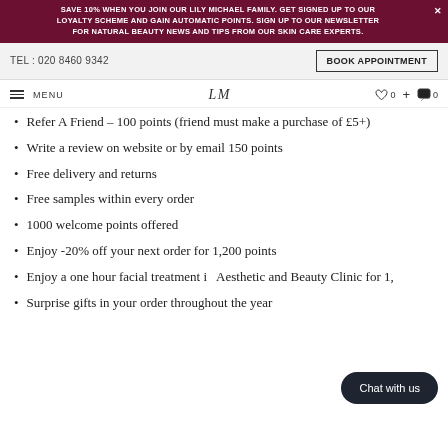SAVE 10% WHEN YOU JOIN OUR LILY MICHAEL FAMILY. GET SIGNED UP TO OUR LOYALTY SCHEME AND GAIN AUTOMATIC POINTS. SIGN UP TO OUR NEWSLETTER FOR NATURAL BEAUTY NEWS AND TIPS FROM OUR SKIN CARE EXPERTS.
TEL: 020 8460 9342   BOOK APPOINTMENT
MENU   LM   0   0
Refer A Friend – 100 points (friend must make a purchase of £5+)
Write a review on website or by email 150 points
Free delivery and returns
Free samples within every order
1000 welcome points offered
Enjoy -20% off your next order for 1,200 points
Enjoy a one hour facial treatment in Aesthetic and Beauty Clinic for 1,...
Surprise gifts in your order throughout the year